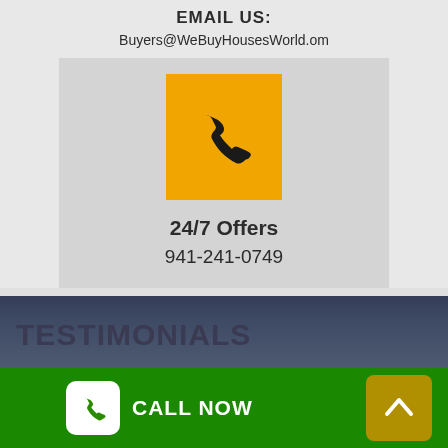EMAIL US:
Buyers@WeBuyHousesWorld.om
[Figure (illustration): Orange/yellow square button with a phone handset icon in black]
24/7 Offers
941-241-0749
TESTIMONIALS
Take a look at what a few of our happy clients have to say about our team!
[Figure (illustration): Green bottom bar with white phone icon button labeled CALL NOW and a gold/olive up-arrow button on the right]